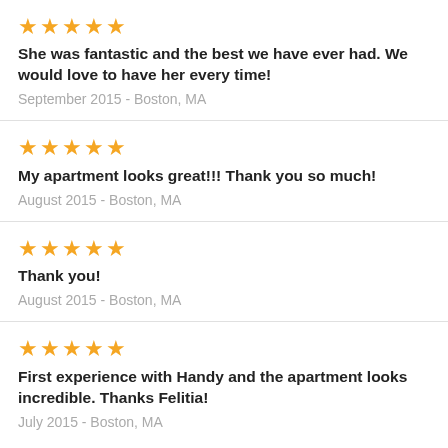[Figure (other): Five gold stars rating]
She was fantastic and the best we have ever had. We would love to have her every time!
September 2015 - Boston, MA
[Figure (other): Five gold stars rating]
My apartment looks great!!! Thank you so much!
August 2015 - Boston, MA
[Figure (other): Five gold stars rating]
Thank you!
August 2015 - Boston, MA
[Figure (other): Five gold stars rating]
First experience with Handy and the apartment looks incredible. Thanks Felitia!
July 2015 - Boston, MA